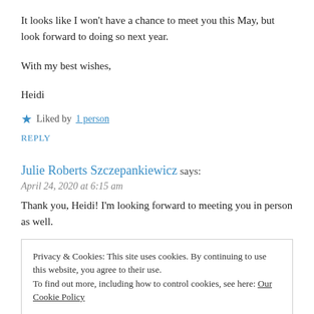It looks like I won't have a chance to meet you this May, but look forward to doing so next year.
With my best wishes,
Heidi
★ Liked by 1 person
REPLY
Julie Roberts Szczepankiewicz says:
April 24, 2020 at 6:15 am
Thank you, Heidi! I'm looking forward to meeting you in person as well.
Privacy & Cookies: This site uses cookies. By continuing to use this website, you agree to their use.
To find out more, including how to control cookies, see here: Our Cookie Policy
Close and accept
April 24, 2020 at 11:49 am